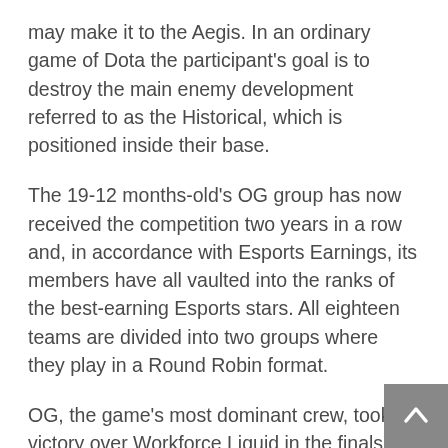may make it to the Aegis. In an ordinary game of Dota the participant's goal is to destroy the main enemy development referred to as the Historical, which is positioned inside their base.
The 19-12 months-old's OG group has now received the competition two years in a row and, in accordance with Esports Earnings, its members have all vaulted into the ranks of the best-earning Esports stars. All eighteen teams are divided into two groups where they play in a Round Robin format.
OG, the game's most dominant crew, took victory over Workforce Liquid in the finals at the Dota 2 Worldwide, becoming the primary team – and, in reality, the primary people, as the workforce makeup has not